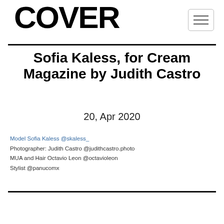COVER
Sofia Kaless, for Cream Magazine by Judith Castro
20, Apr 2020
Model Sofia Kaless @skaless_
Photographer: Judith Castro @judithcastro.photo
MUA and Hair Octavio Leon @octavioleon
Stylist @panucomx